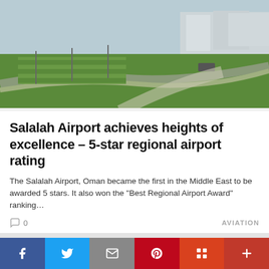[Figure (photo): Aerial view of Salalah Airport grounds showing green lawns, roads, and airport buildings]
Salalah Airport achieves heights of excellence – 5-star regional airport rating
The Salalah Airport, Oman became the first in the Middle East to be awarded 5 stars. It also won the "Best Regional Airport Award" ranking…
0   AVIATION
[Figure (photo): Scenic outdoor photo with rocky cliffs, blue sky with clouds, and trees. Date badge showing January 15, 2022]
Social sharing bar: Facebook, Twitter, Email, Pinterest, Mix, More